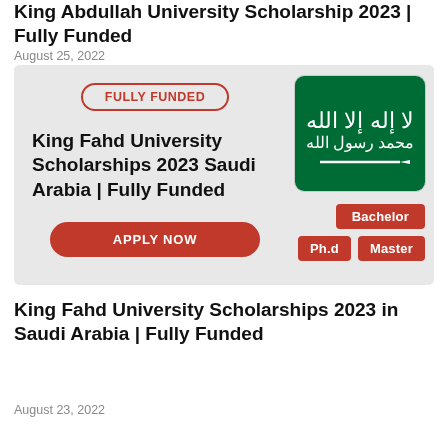King Abdullah University Scholarship 2023 | Fully Funded
August 25, 2022
[Figure (infographic): Scholarship promotional banner with 'FULLY FUNDED' badge, text reading 'King Fahd University Scholarships 2023 Saudi Arabia | Fully Funded', an 'APPLY NOW' button, Saudi Arabia flag, and degree level badges: Bachelor, Ph.d, Master]
King Fahd University Scholarships 2023 in Saudi Arabia | Fully Funded
August 23, 2022